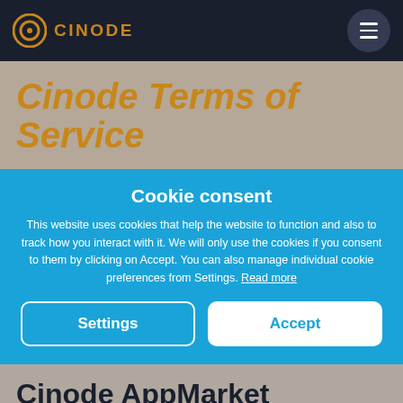CINODE
Cinode Terms of Service
Cookie consent
This website uses cookies that help the website to function and also to track how you interact with it. We will only use the cookies if you consent to them by clicking on Accept. You can also manage individual cookie preferences from Settings. Read more
Settings
Accept
Cinode AppMarket Technology Partner Agreement